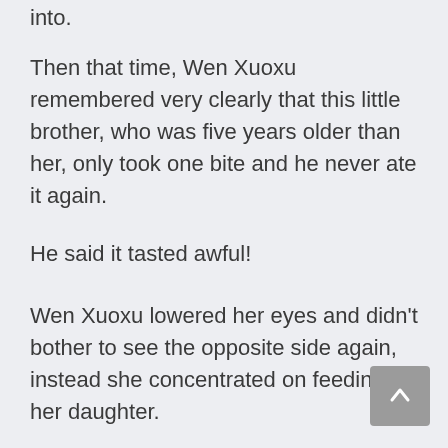into.
Then that time, Wen Xuoxu remembered very clearly that this little brother, who was five years older than her, only took one bite and he never ate it again.
He said it tasted awful!
Wen Xuoxu lowered her eyes and didn't bother to see the opposite side again, instead she concentrated on feeding her daughter.